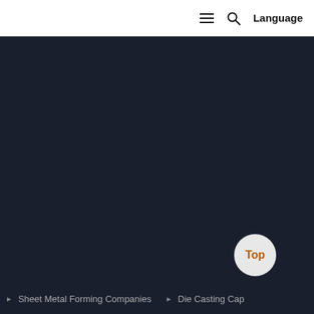≡ 🔍 Language
[Figure (screenshot): Dark navy background area, appears to be a webpage hero section with no visible content]
▶ Sheet Metal Forming Companies   ▶ Die Casting Cap
Top